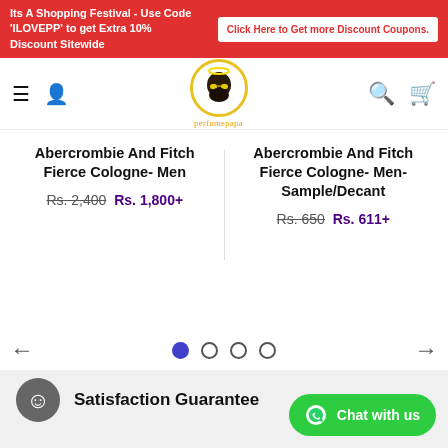Its A Shopping Festival - Use Code 'ILOVEPP' to get Extra 10% Discount Sitewide | Click Here to Get more Discount Coupons.
[Figure (logo): Perfumepapa website logo - bearded man face in yellow circle with text 'perfumepapa']
Abercrombie And Fitch Fierce Cologne- Men Rs. 2,400 Rs. 1,800+
Abercrombie And Fitch Fierce Cologne- Men-Sample/Decant Rs. 650 Rs. 611+
Satisfaction Guarantee
Chat with us